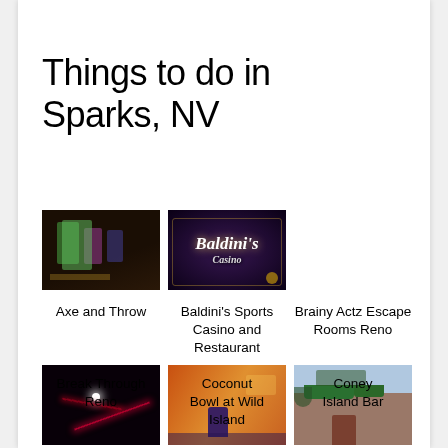Things to do in Sparks, NV
[Figure (photo): Interior photo of Axe and Throw venue, dark ambiance with colorful lighting and game equipment]
Axe and Throw
[Figure (photo): Baldini's Casino sign with logo on dark background]
Baldini's Sports Casino and Restaurant
Brainy Actz Escape Rooms Reno
[Figure (photo): Dark room with red laser beams – Break Through Reno escape room]
Break Through Reno
[Figure (photo): Interior of Coconut Bowl at Wild Island with colorful orange decor and bowling lanes]
Coconut Bowl at Wild Island
[Figure (photo): Exterior brick building of Coney Island Bar with green awnings]
Coney Island Bar